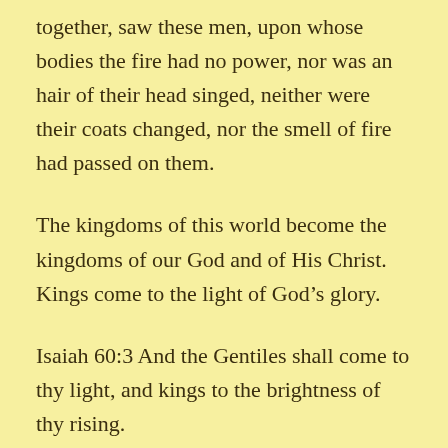together, saw these men, upon whose bodies the fire had no power, nor was an hair of their head singed, neither were their coats changed, nor the smell of fire had passed on them.
The kingdoms of this world become the kingdoms of our God and of His Christ. Kings come to the light of God’s glory.
Isaiah 60:3 And the Gentiles shall come to thy light, and kings to the brightness of thy rising.
10 And the sons of strangers shall build up thy